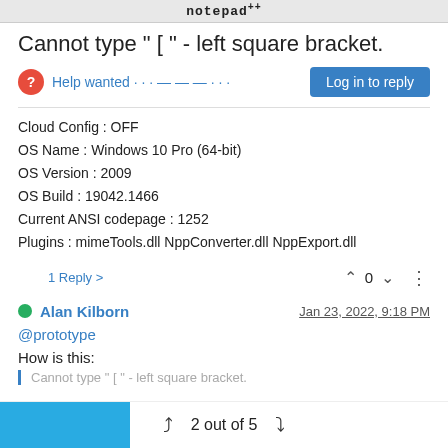notepad++
Cannot type " [ " - left square bracket.
Help wanted · · · — — — · · ·
Cloud Config : OFF
OS Name : Windows 10 Pro (64-bit)
OS Version : 2009
OS Build : 19042.1466
Current ANSI codepage : 1252
Plugins : mimeTools.dll NppConverter.dll NppExport.dll
1 Reply >
Alan Kilborn
Jan 23, 2022, 9:18 PM
@prototype
How is this:
Cannot type " [ " - left square bracket.
2 out of 5